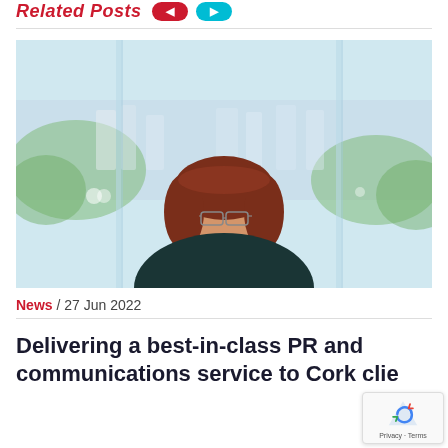Related Posts
[Figure (photo): Professional woman with glasses and auburn hair, wearing a dark teal/navy top, smiling in front of a large glass window with a blurred cityscape and greenery in the background]
News / 27 Jun 2022
Delivering a best-in-class PR and communications service to Cork clie